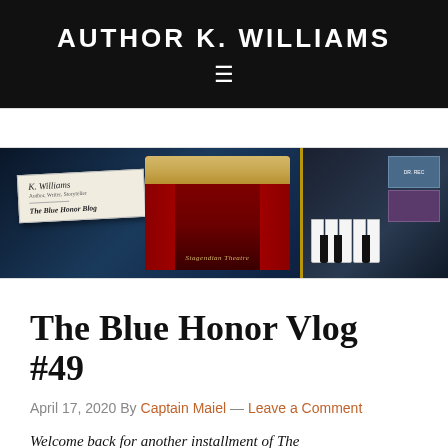AUTHOR K. WILLIAMS
[Figure (illustration): Blog banner image showing K. Williams author card with 'The Blue Honor Blog' text, a theater stage with red curtains labeled 'Stagendian Theatre', and a piano keyboard with book covers on the right side, all on a dark blue background]
The Blue Honor Vlog #49
April 17, 2020 By Captain Maiel — Leave a Comment
Welcome back for another installment of The